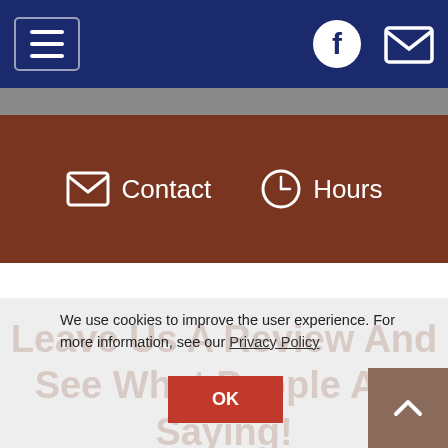Navigation bar with hamburger menu, Facebook icon, and mail icon
[Figure (screenshot): Brown bar with Contact and Hours navigation items with icons]
We use cookies to improve the user experience. For more information, see our Privacy Policy
OK
Leave Us A Review And See What People Are Saying!